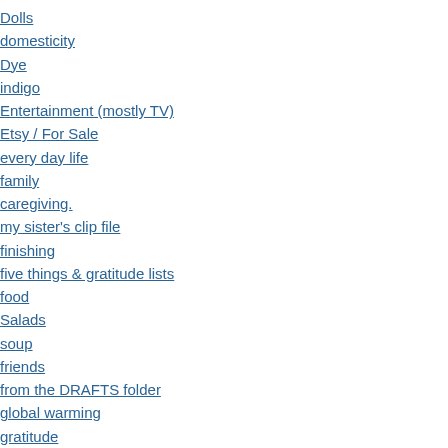Dolls
domesticity
Dye
indigo
Entertainment (mostly TV)
Etsy / For Sale
every day life
family
caregiving.
my sister's clip file
finishing
five things & gratitude lists
food
Salads
soup
friends
from the DRAFTS folder
global warming
gratitude